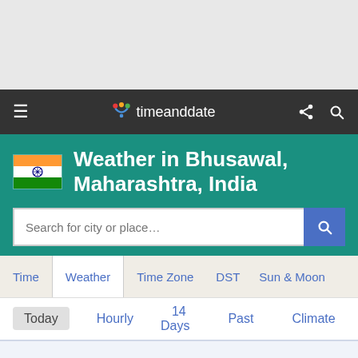[Figure (screenshot): Gray background area at top of page]
timeanddate navigation bar with hamburger menu, logo, share and search icons
Weather in Bhusawal, Maharashtra, India
Search for city or place...
Time
Weather
Time Zone
DST
Sun & Moon
Today
Hourly
14 Days
Past
Climate
Now 78 °F
Partly sunny.